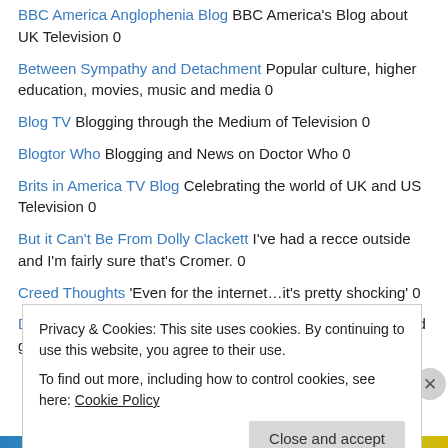BBC America Anglophenia Blog BBC America's Blog about UK Television 0
Between Sympathy and Detachment Popular culture, higher education, movies, music and media 0
Blog TV Blogging through the Medium of Television 0
Blogtor Who Blogging and News on Doctor Who 0
Brits in America TV Blog Celebrating the world of UK and US Television 0
But it Can't Be From Dolly Clackett I've had a recce outside and I'm fairly sure that's Cromer. 0
Creed Thoughts 'Even for the internet…it's pretty shocking' 0
Daniel Stirrup-Animation Stunning animation, illustrations and graphics from artist Daniel Stirrup 0
Privacy & Cookies: This site uses cookies. By continuing to use this website, you agree to their use. To find out more, including how to control cookies, see here: Cookie Policy
Close and accept